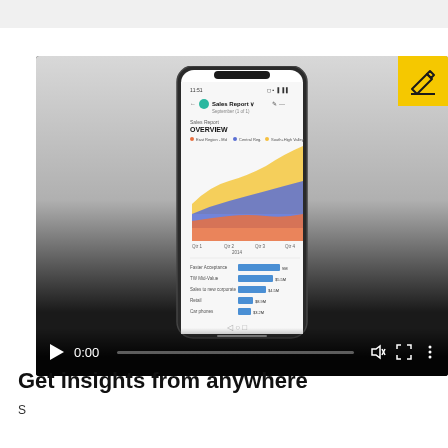[Figure (screenshot): A video player showing a mobile phone screen displaying a Sales Report dashboard with an area chart (Q1-Q4) and horizontal bar charts. A yellow edit icon badge appears in the top-right corner of the video. Video controls show play button, 0:00 timestamp, progress bar, mute, fullscreen, and options icons.]
Get insights from anywhere
Screen content shown is simulated.